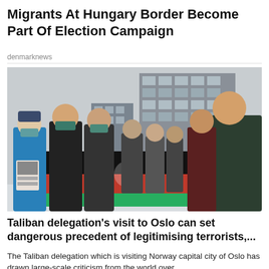Migrants At Hungary Border Become Part Of Election Campaign
denmarknews
[Figure (photo): Protesters wearing masks holding a large Afghan flag (black, red, green) in an outdoor urban square with modern glass buildings in the background, during cold weather.]
Taliban delegation's visit to Oslo can set dangerous precedent of legitimising terrorists,...
The Taliban delegation which is visiting Norway capital city of Oslo has drawn large-scale criticism from the world over.